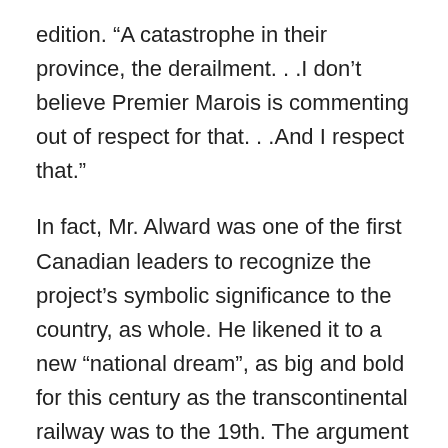edition. “A catastrophe in their province, the derailment. . .I don’t believe Premier Marois is commenting out of respect for that. . .And I respect that.”
In fact, Mr. Alward was one of the first Canadian leaders to recognize the project’s symbolic significance to the country, as whole. He likened it to a new “national dream”, as big and bold for this century as the transcontinental railway was to the 19th. The argument resonated immediately with Alberta Premier Alison Redford, whose overriding priority is to get her province’s crude to refineries (any refinery) as soon and as cost-effectively as possible.
It’s clear, from her quote in the Telegraph-Journal last week, she hasn’t changed her mind. “We believe it is terribly important that this be considered exactly what it is,”